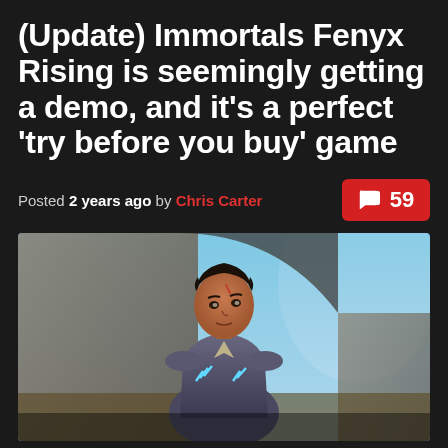(Update) Immortals Fenyx Rising is seemingly getting a demo, and it's a perfect 'try before you buy' game
Posted 2 years ago by Chris Carter
[Figure (screenshot): Screenshot from Immortals Fenyx Rising video game showing an armored character looking up near an archway, with blue sky in background]